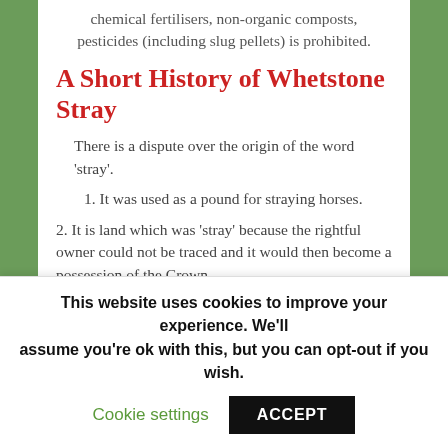chemical fertilisers, non-organic composts, pesticides (including slug pellets) is prohibited.
A Short History of Whetstone Stray
There is a dispute over the origin of the word ‘stray’.
1. It was used as a pound for straying horses.
2. It is land which was ‘stray’ because the rightful owner could not be traced and it would then become a possession of the Crown.
The name has been in use in Whetstone for many years. Whetstone Stray was once part of the Baxendale Estate. Joseph Baxendale had taken over Pickford Brothers, and the area of Whetstone Stray had been
This website uses cookies to improve your experience. We’ll assume you’re ok with this, but you can opt-out if you wish.